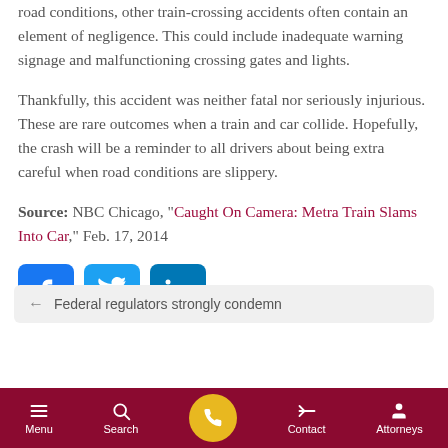road conditions, other train-crossing accidents often contain an element of negligence. This could include inadequate warning signage and malfunctioning crossing gates and lights.
Thankfully, this accident was neither fatal nor seriously injurious. These are rare outcomes when a train and car collide. Hopefully, the crash will be a reminder to all drivers about being extra careful when road conditions are slippery.
Source: NBC Chicago, “Caught On Camera: Metra Train Slams Into Car,” Feb. 17, 2014
[Figure (other): Social media share buttons: Facebook, Twitter, LinkedIn]
← Federal regulators strongly condemn
Menu | Search | Contact | Attorneys